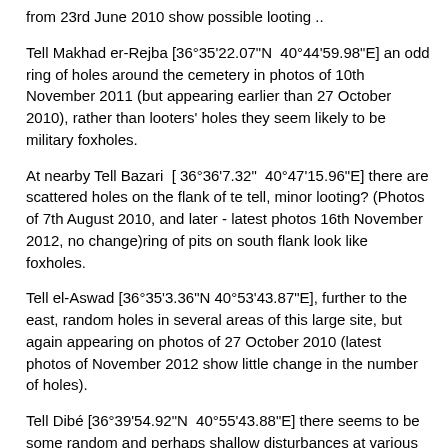from 23rd June 2010 show possible looting ..
Tell Makhad er-Rejba [36°35'22.07"N  40°44'59.98"E] an odd ring of holes around the cemetery in photos of 10th November 2011 (but appearing earlier than 27 October 2010), rather than looters' holes they seem likely to be military foxholes.
At nearby Tell Bazari  [ 36°36'7.32"  40°47'15.96"E] there are scattered holes on the flank of te tell, minor looting? (Photos of 7th August 2010, and later - latest photos 16th November 2012, no change)ring of pits on south flank look like foxholes.
Tell el-Aswad [36°35'3.36"N 40°53'43.87"E], further to the east, random holes in several areas of this large site, but again appearing on photos of 27 October 2010 (latest photos of November 2012 show little change in the number of holes).
Tell Dibé [36°39'54.92"N  40°55'43.88"E] there seems to be some random and perhaps shallow disturbances at various